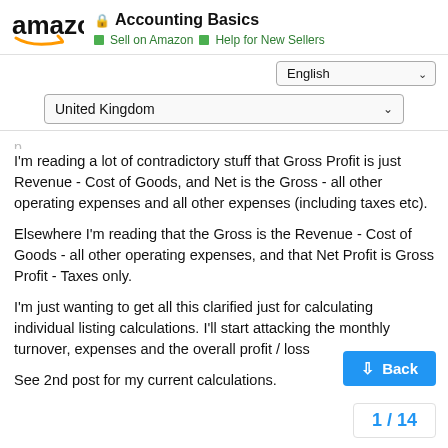Accounting Basics | Sell on Amazon | Help for New Sellers
I'm reading a lot of contradictory stuff that Gross Profit is just Revenue - Cost of Goods, and Net is the Gross - all other operating expenses and all other expenses (including taxes etc).
Elsewhere I'm reading that the Gross is the Revenue - Cost of Goods - all other operating expenses, and that Net Profit is Gross Profit - Taxes only.
I'm just wanting to get all this clarified just for calculating individual listing calculations. I'll start attacking the monthly turnover, expenses and the overall profit / loss
See 2nd post for my current calculations.